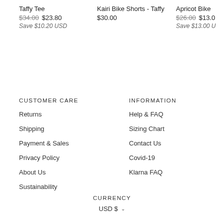Taffy Tee
$34.00 $23.80
Save $10.20 USD
Kairi Bike Shorts - Taffy
$30.00
Apricot Bike
$26.00 $13.00
Save $13.00 U
CUSTOMER CARE
Returns
Shipping
Payment & Sales
Privacy Policy
About Us
Sustainability
INFORMATION
Help & FAQ
Sizing Chart
Contact Us
Covid-19
Klarna FAQ
CURRENCY
USD $ ∨